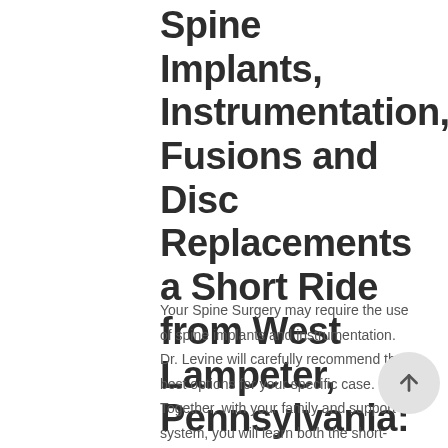Spine Implants, Instrumentation, Fusions and Disc Replacements a Short Ride from West Lampeter, Pennsylvania:
Your Spine Surgery may require the use of spine implants and instrumentation. Dr. Levine will carefully recommend the best options for your specific case. Together, with your family and support system, you will learn both the short-term and long-term benefits of the